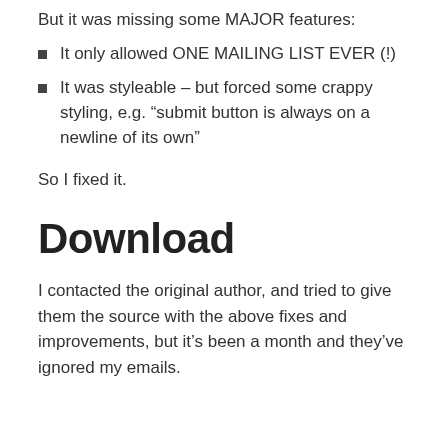But it was missing some MAJOR features:
It only allowed ONE MAILING LIST EVER (!)
It was styleable – but forced some crappy styling, e.g. “submit button is always on a newline of its own”
So I fixed it.
Download
I contacted the original author, and tried to give them the source with the above fixes and improvements, but it’s been a month and they’ve ignored my emails.